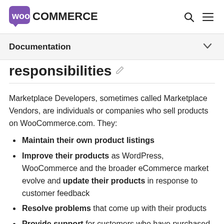[Figure (logo): WooCommerce logo with purple speech bubble icon and bold black text]
Documentation
responsibilities
Marketplace Developers, sometimes called Marketplace Vendors, are individuals or companies who sell products on WooCommerce.com. They:
Maintain their own product listings
Improve their products as WordPress, WooCommerce and the broader eCommerce market evolve and update their products in response to customer feedback
Resolve problems that come up with their products
Provide support for customers who have purchased their products – if you log a support request for a